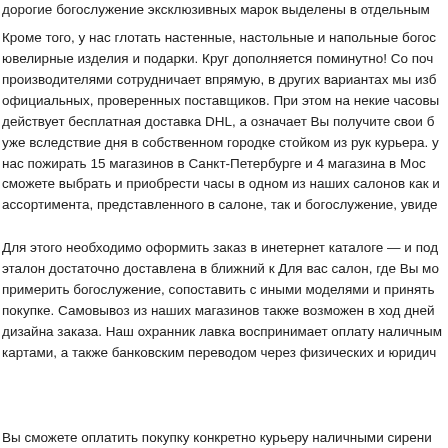дорогие богослужение эксклюзивных марок выделены в отдельный
Кроме того, у нас глотать настенные, настольные и напольные бого ювелирные изделия и подарки. Круг дополняется поминутно! Со по производителями сотрудничает впрямую, в других вариантах мы из официальных, проверенных поставщиков. При этом на некие часов действует бесплатная доставка DHL, а означает Вы получите свои б уже вследствие дня в собственном городке стойком из рук курьера. у нас пожирать 15 магазинов в Санкт-Петербурге и 4 магазина в Мо сможете выбрать и приобрести часы в одном из наших салонов как ассортимента, представленного в салоне, так и богослужение, увид веб-сайте.
Для этого необходимо оформить заказ в инетернет каталоге — и по эталон достаточно доставлена в ближний к Для вас салон, где Вы м примерить богослужение, сопоставить с иными моделями и приня покупке. Самовывоз из наших магазинов также возможен в ход дне дизайна заказа. Наш охранник лавка воспринимает оплату наличны картами, а также банковским переводом через физических и юридич
Вы сможете оплатить покупку конкретно курьеру наличными сирен